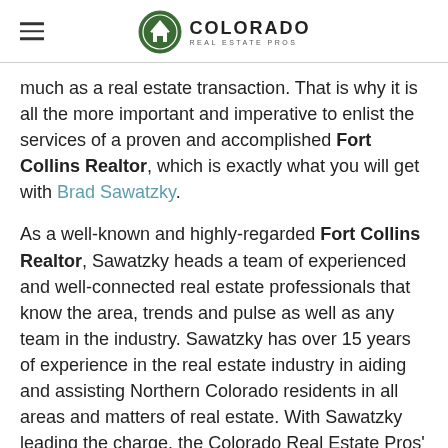COLORADO REAL ESTATE PROS
much as a real estate transaction. That is why it is all the more important and imperative to enlist the services of a proven and accomplished Fort Collins Realtor, which is exactly what you will get with Brad Sawatzky.
As a well-known and highly-regarded Fort Collins Realtor, Sawatzky heads a team of experienced and well-connected real estate professionals that know the area, trends and pulse as well as any team in the industry. Sawatzky has over 15 years of experience in the real estate industry in aiding and assisting Northern Colorado residents in all areas and matters of real estate. With Sawatzky leading the charge, the Colorado Real Estate Pros' team tailors its services to meet the individual needs of each of our clients because every case and situation is different. Once you make the commitment to utilize our services and expertise, we will instantly begin